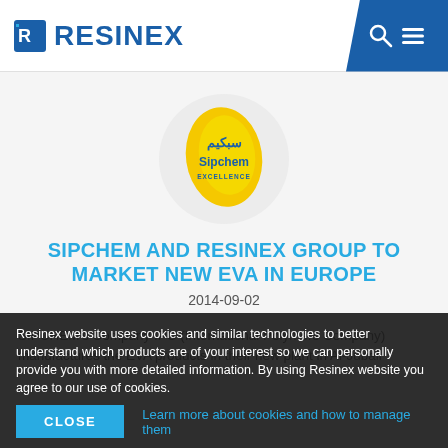RESINEX
[Figure (logo): Sipchem logo — yellow teardrop/leaf shape with Arabic text and 'Sipchem EXCELLENCE' branding]
SIPCHEM AND RESINEX GROUP TO MARKET NEW EVA IN EUROPE
2014-09-02
SIPCHEM's Company IPC (International Polymers Company) manufactures the EVA products in their new plant in Al-Jubail
Resinex website uses cookies and similar technologies to better understand which products are of your interest so we can personally provide you with more detailed information. By using Resinex website you agree to our use of cookies.
CLOSE   Learn more about cookies and how to manage them